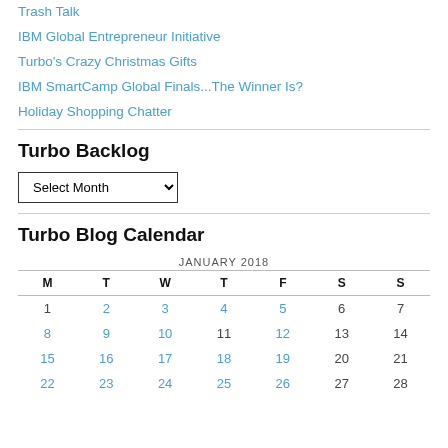Trash Talk
IBM Global Entrepreneur Initiative
Turbo's Crazy Christmas Gifts
IBM SmartCamp Global Finals...The Winner Is?
Holiday Shopping Chatter
Turbo Backlog
Select Month
Turbo Blog Calendar
| M | T | W | T | F | S | S |
| --- | --- | --- | --- | --- | --- | --- |
| 1 | 2 | 3 | 4 | 5 | 6 | 7 |
| 8 | 9 | 10 | 11 | 12 | 13 | 14 |
| 15 | 16 | 17 | 18 | 19 | 20 | 21 |
| 22 | 23 | 24 | 25 | 26 | 27 | 28 |